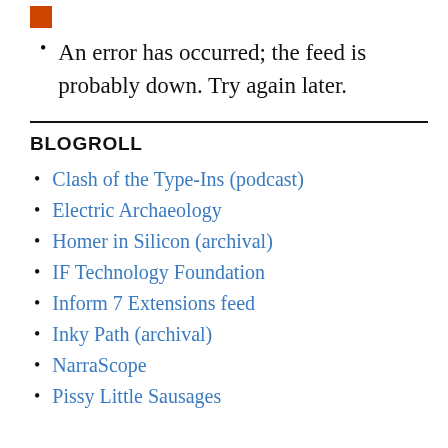An error has occurred; the feed is probably down. Try again later.
BLOGROLL
Clash of the Type-Ins (podcast)
Electric Archaeology
Homer in Silicon (archival)
IF Technology Foundation
Inform 7 Extensions feed
Inky Path (archival)
NarraScope
Pissy Little Sausages